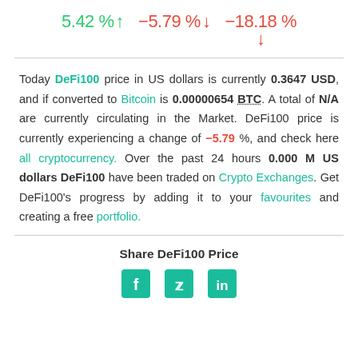5.42 % ↑   -5.79 % ↓   -18.18 % ↓
Today DeFi100 price in US dollars is currently 0.3647 USD, and if converted to Bitcoin is 0.00000654 BTC. A total of N/A are currently circulating in the Market. DeFi100 price is currently experiencing a change of -5.79 %, and check here all cryptocurrency. Over the past 24 hours 0.000 M US dollars DeFi100 have been traded on Crypto Exchanges. Get DeFi100's progress by adding it to your favourites and creating a free portfolio.
Share DeFi100 Price